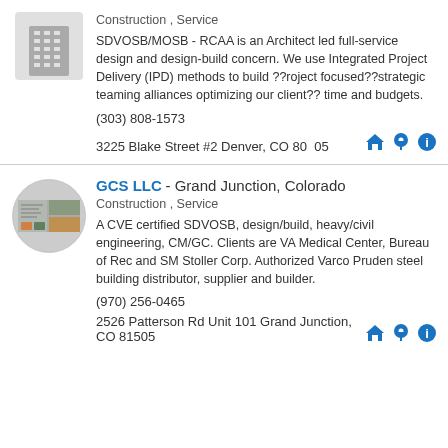[Figure (logo): Gray building/skyscraper logo icon]
Construction , Service
SDVOSB/MOSB - RCAA is an Architect led full-service design and design-build concern. We use Integrated Project Delivery (IPD) methods to build ??roject focused??strategic teaming alliances optimizing our client?? time and budgets.
(303) 808-1573
3225 Blake Street #2 Denver, CO 80205
[Figure (photo): GCS LLC company logo - circular image showing construction site photos]
GCS LLC - Grand Junction, Colorado
Construction , Service
A CVE certified SDVOSB, design/build, heavy/civil engineering, CM/GC. Clients are VA Medical Center, Bureau of Rec and SM Stoller Corp. Authorized Varco Pruden steel building distributor, supplier and builder.
(970) 256-0465
2526 Patterson Rd Unit 101 Grand Junction, CO 81505